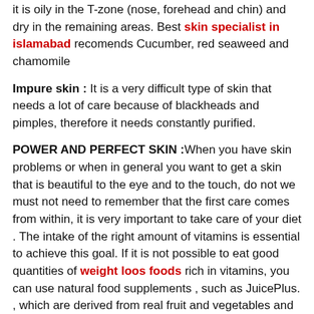it is oily in the T-zone (nose, forehead and chin) and dry in the remaining areas. Best skin specialist in islamabad recomends Cucumber, red seaweed and chamomile
Impure skin : It is a very difficult type of skin that needs a lot of care because of blackheads and pimples, therefore it needs constantly purified.
POWER AND PERFECT SKIN :When you have skin problems or when in general you want to get a skin that is beautiful to the eye and to the touch, do not we must not need to remember that the first care comes from within, it is very important to take care of your diet . The intake of the right amount of vitamins is essential to achieve this goal. If it is not possible to eat good quantities of weight loos foods rich in vitamins, you can use natural food supplements , such as JuicePlus. , which are derived from real fruit and vegetables and which help balance the diet.
Some foods are more useful than others: The green tea is the best detoxifying and helps against acne, also can be used to moisturize the skin and make it radiant and toned. vitamin B are found legumes, and they promote cell